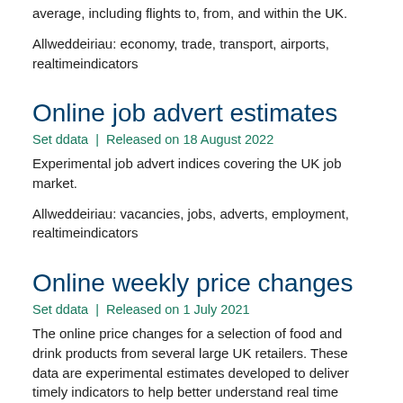average, including flights to, from, and within the UK.
Allweddeiriau: economy, trade, transport, airports, realtimeindicators
Online job advert estimates
Set ddata | Released on 18 August 2022
Experimental job advert indices covering the UK job market.
Allweddeiriau: vacancies, jobs, adverts, employment, realtimeindicators
Online weekly price changes
Set ddata | Released on 1 July 2021
The online price changes for a selection of food and drink products from several large UK retailers. These data are experimental estimates developed to deliver timely indicators to help better understand real time economic activity and